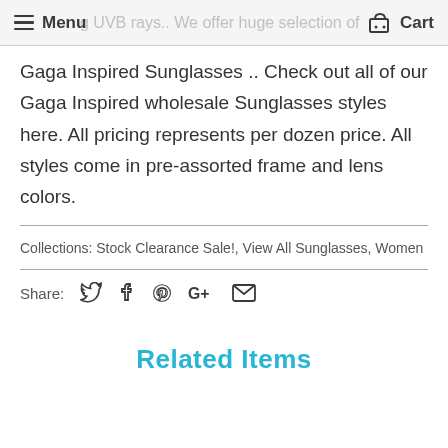Menu  [background: g UVB rays.. We offer huge selection of]  Cart
Gaga Inspired Sunglasses .. Check out all of our Gaga Inspired wholesale Sunglasses styles here. All pricing represents per dozen price. All styles come in pre-assorted frame and lens colors.
Collections: Stock Clearance Sale!, View All Sunglasses, Women
Share: [twitter] [facebook] [pinterest] [google+] [email]
Related Items